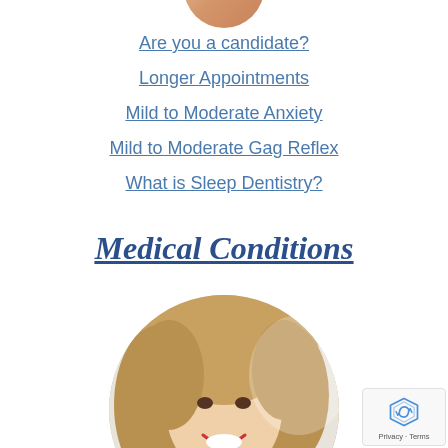[Figure (photo): Partial view of a person's face/shoulders cropped at top, circular photo]
Are you a candidate?
Longer Appointments
Mild to Moderate Anxiety
Mild to Moderate Gag Reflex
What is Sleep Dentistry?
Medical Conditions
[Figure (photo): Young smiling woman with blonde hair in a circular photo frame]
Privacy - Terms